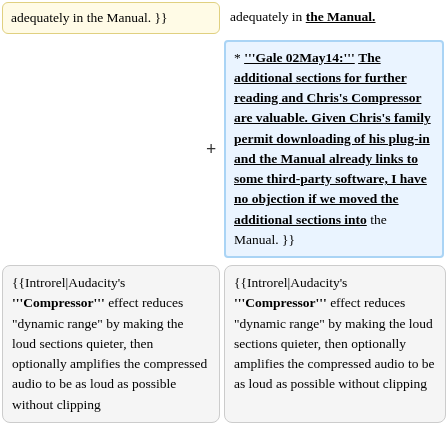adequately in the Manual. }}
adequately in the Manual.
* '''Gale 02May14:''' The additional sections for further reading and Chris's Compressor are valuable. Given Chris's family permit downloading of his plug-in and the Manual already links to some third-party software, I have no objection if we moved the additional sections into the Manual. }}
{{Introrel|Audacity's '''Compressor''' effect reduces "dynamic range" by making the loud sections quieter, then optionally amplifies the compressed audio to be as loud as possible without clipping
{{Introrel|Audacity's '''Compressor''' effect reduces "dynamic range" by making the loud sections quieter, then optionally amplifies the compressed audio to be as loud as possible without clipping